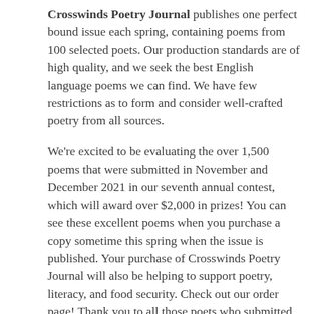Crosswinds Poetry Journal publishes one perfect bound issue each spring, containing poems from 100 selected poets. Our production standards are of high quality, and we seek the best English language poems we can find. We have few restrictions as to form and consider well-crafted poetry from all sources.
We're excited to be evaluating the over 1,500 poems that were submitted in November and December 2021 in our seventh annual contest, which will award over $2,000 in prizes! You can see these excellent poems when you purchase a copy sometime this spring when the issue is published. Your purchase of Crosswinds Poetry Journal will also be helping to support poetry, literacy, and food security. Check out our order page! Thank you to all those poets who submitted to our contest. The reading period for our next contest will begin on November 1, 2022
Please read our guidelines carefully as they do change